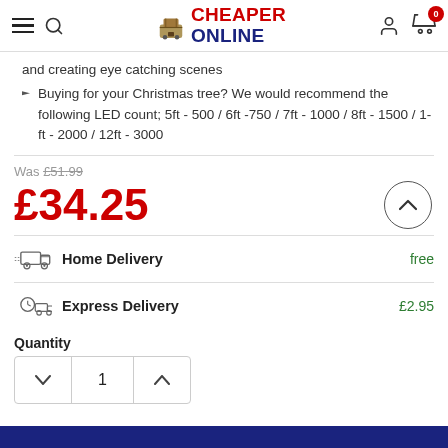Cheaper Online
and creating eye catching scenes
Buying for your Christmas tree? We would recommend the following LED count; 5ft - 500 / 6ft -750 / 7ft - 1000 / 8ft - 1500 / 1-ft - 2000 / 12ft - 3000
Was £51.99
£34.25
Home Delivery  free
Express Delivery  £2.95
Quantity
1